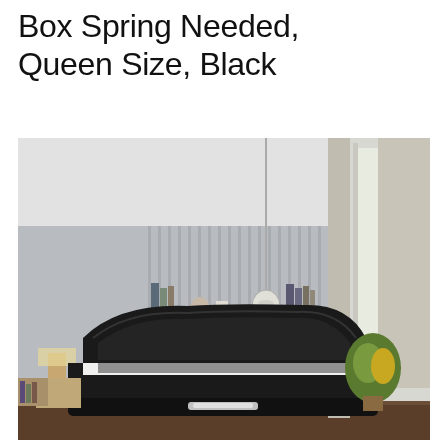Box Spring Needed, Queen Size, Black
[Figure (photo): Product photo of a black upholstered platform bed frame in a modern bedroom setting. The bed has a curved black faux leather headboard, white bedding with a gray runner, and a chrome accent on the footboard. Behind the bed is a wall-mounted shelf with decorative items. The room has light gray paneled walls, sheer curtains, a pendant light, and a potted plant on the right.]